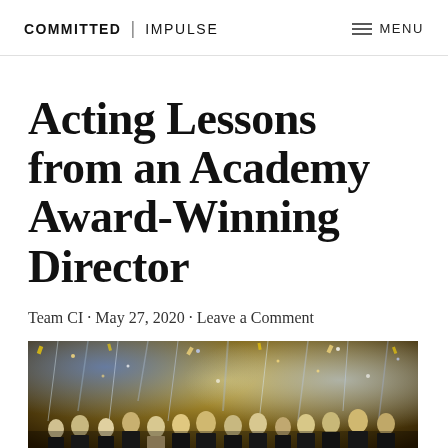COMMITTED | IMPULSE   ≡ MENU
Acting Lessons from an Academy Award-Winning Director
Team CI · May 27, 2020 · Leave a Comment
[Figure (photo): Group of people in formal attire at an awards ceremony with sparkling confetti and decorative backdrop]